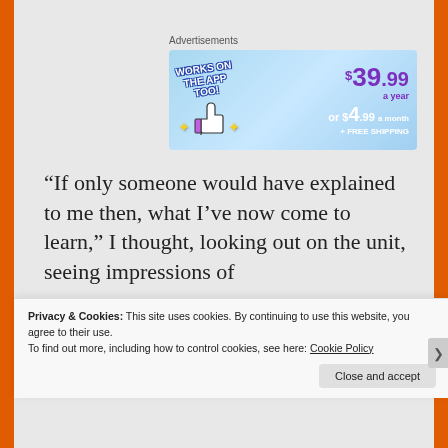Advertisements
[Figure (illustration): Advertisement banner showing 'WORKS ON THE APP TOO!' with a thumbs-up icon, sparkle stars, and pricing: $39.99 a year or $4.99 a month + FREE SHIPPING on a blue gradient background]
“If only someone would have explained to me then, what I’ve now come to learn,” I thought, looking out on the unit, seeing impressions of
Privacy & Cookies: This site uses cookies. By continuing to use this website, you agree to their use.
To find out more, including how to control cookies, see here: Cookie Policy
Close and accept